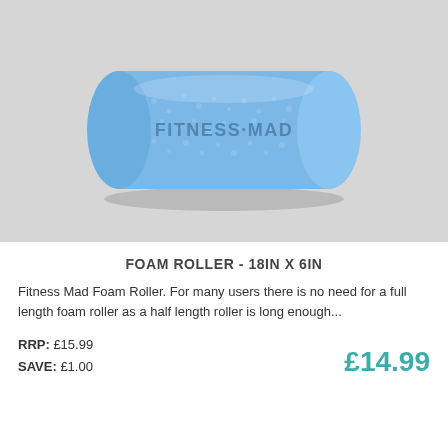[Figure (photo): Blue cylindrical foam roller with FITNESS-MAD text embossed on the surface, photographed on a light grey background.]
FOAM ROLLER - 18IN X 6IN
Fitness Mad Foam Roller. For many users there is no need for a full length foam roller as a half length roller is long enough...
RRP: £15.99
SAVE: £1.00
£14.99